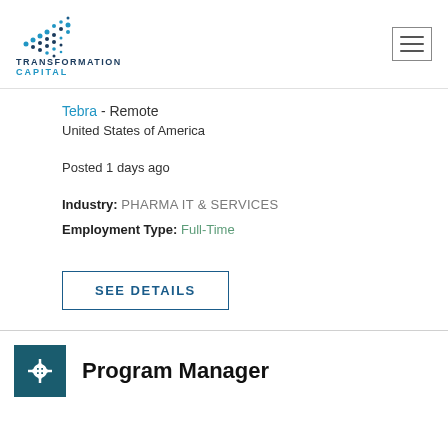[Figure (logo): Transformation Capital logo with dot-pattern icon and text]
Tebra - Remote
United States of America
Posted 1 days ago
Industry: PHARMA IT & SERVICES
Employment Type: Full-Time
SEE DETAILS
Program Manager